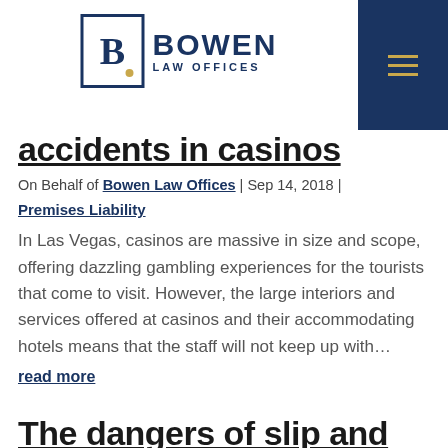[Figure (logo): Bowen Law Offices logo with blue square B icon and navigation hamburger menu on dark blue background]
accidents in casinos
On Behalf of Bowen Law Offices | Sep 14, 2018 |
Premises Liability
In Las Vegas, casinos are massive in size and scope, offering dazzling gambling experiences for the tourists that come to visit. However, the large interiors and services offered at casinos and their accommodating hotels means that the staff will not keep up with…
read more
The dangers of slip and fall accidents at a Vegas casino